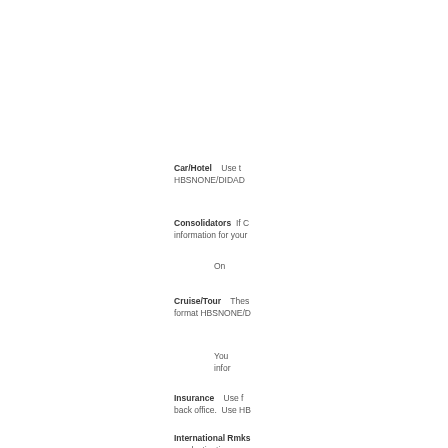Car/Hotel   Use t... HBSNONE/DIDAD ...
Consolidators  If C... information for your...
On ...
Cruise/Tour   These... format HBSNONE/D...
You... infor...
Insurance   Use f... back office.  Use HB...
International Rmks... per destination...